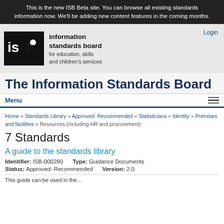This is the new ISB Beta site. You can browse all existing standards information now. We'll be adding new content features in the coming months.
[Figure (logo): Information Standards Board logo: black square with 'isb' in white, next to text 'information standards board for education, skills and children's services']
The Information Standards Board
Menu
Home » Standards Library » Approved: Recommended » Statisticians » Identity » Premises and facilities » Resources (including HR and procurement)
7 Standards
A guide to the standards library
Identifier:   ISB-000280     Type:   Guidance Documents
Status:   Approved: Recommended     Version:   2.0
This guide can be used in the...